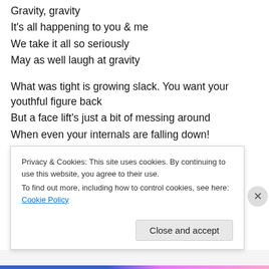Gravity, gravity
It's all happening to you & me
We take it all so seriously
May as well laugh at gravity
What was tight is growing slack. You want your youthful figure back
But a face lift's just a bit of messing around
When even your internals are falling down!
That's nature – It's all fine. She gave the solution
It's in the mind. Forget the lines, and sing with me
May as well laugh at gravity
Privacy & Cookies: This site uses cookies. By continuing to use this website, you agree to their use.
To find out more, including how to control cookies, see here: Cookie Policy
Close and accept